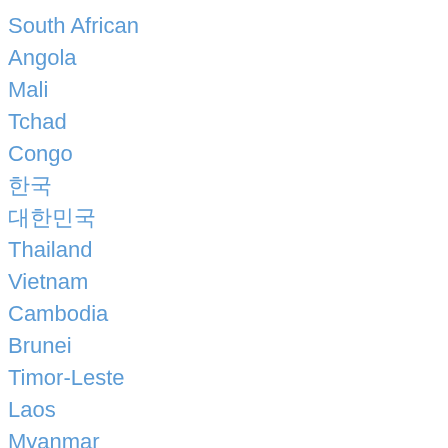South African
Angola
Mali
Tchad
Congo
한국
대한민국
Thailand
Vietnam
Cambodia
Brunei
Timor-Leste
Laos
Myanmar
Indonesia
Ελλάδα
Danmark